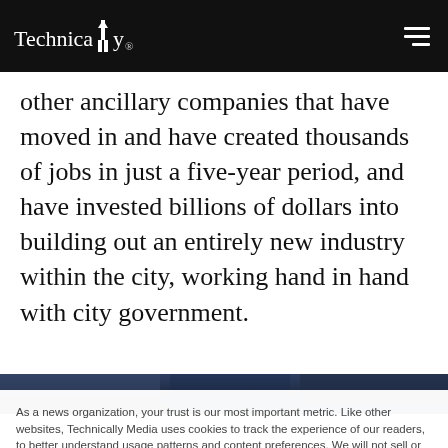Technically
other ancillary companies that have moved in and have created thousands of jobs in just a five-year period, and have invested billions of dollars into building out an entirely new industry within the city, working hand in hand with city government.
[Figure (photo): Dark blue/navy image strip at bottom of article]
As a news organization, your trust is our most important metric. Like other websites, Technically Media uses cookies to track the experience of our readers, to better understand usage patterns and content preferences. We will not sell or rent your personal information to third parties. For more information or to contact us, read our entire Ethics & Privacy Policy.
Close